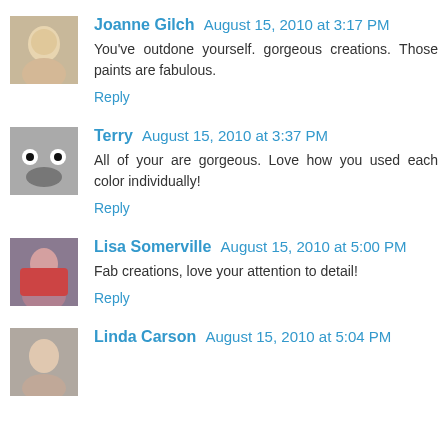Joanne Gilch August 15, 2010 at 3:17 PM
You've outdone yourself. gorgeous creations. Those paints are fabulous.
Reply
Terry August 15, 2010 at 3:37 PM
All of your are gorgeous. Love how you used each color individually!
Reply
Lisa Somerville August 15, 2010 at 5:00 PM
Fab creations, love your attention to detail!
Reply
Linda Carson August 15, 2010 at 5:04 PM